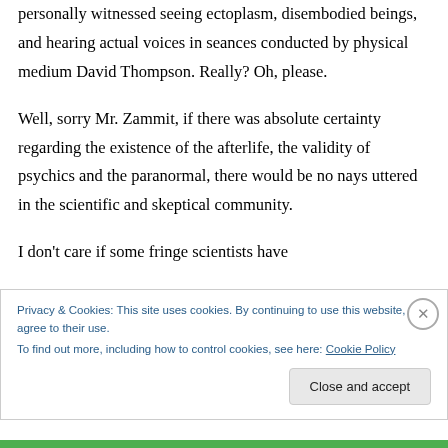personally witnessed seeing ectoplasm, disembodied beings, and hearing actual voices in seances conducted by physical medium David Thompson. Really? Oh, please.
Well, sorry Mr. Zammit, if there was absolute certainty regarding the existence of the afterlife, the validity of psychics and the paranormal, there would be no nays uttered in the scientific and skeptical community.
I don't care if some fringe scientists have
Privacy & Cookies: This site uses cookies. By continuing to use this website, you agree to their use.
To find out more, including how to control cookies, see here: Cookie Policy